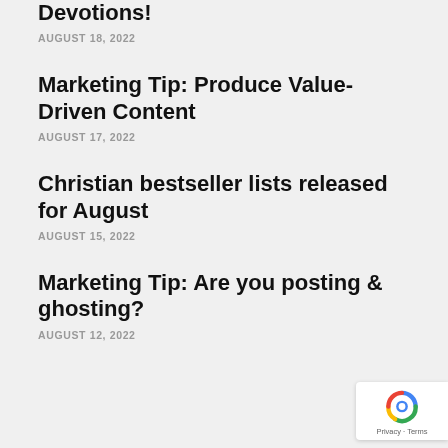Devotions!
AUGUST 18, 2022
Marketing Tip: Produce Value-Driven Content
AUGUST 17, 2022
Christian bestseller lists released for August
AUGUST 15, 2022
Marketing Tip: Are you posting & ghosting?
AUGUST 12, 2022